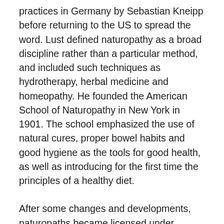practices in Germany by Sebastian Kneipp before returning to the US to spread the word. Lust defined naturopathy as a broad discipline rather than a particular method, and included such techniques as hydrotherapy, herbal medicine and homeopathy. He founded the American School of Naturopathy in New York in 1901. The school emphasized the use of natural cures, proper bowel habits and good hygiene as the tools for good health, as well as introducing for the first time the principles of a healthy diet.
After some changes and developments, naturopaths became licensed under naturopathic practitioner laws in 25 states in the first three decades of the twentieth century. After a period of rapid growth, naturopathy went into decline for several decades after the 1930s with the advent of penicillin and other drugs. Fortunately, naturopathy never completely died out and beginning in the 1970s, interest started to increase in the United States and